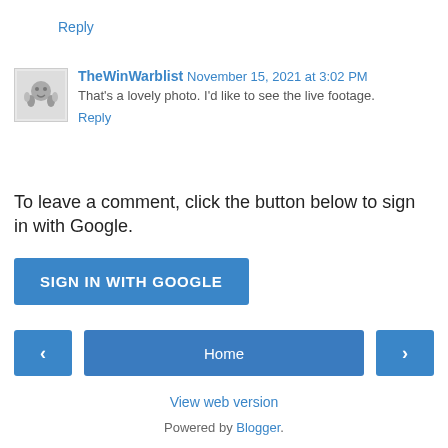Reply
TheWinWarblist November 15, 2021 at 3:02 PM
That's a lovely photo. I'd like to see the live footage.
Reply
To leave a comment, click the button below to sign in with Google.
SIGN IN WITH GOOGLE
Home
View web version
Powered by Blogger.